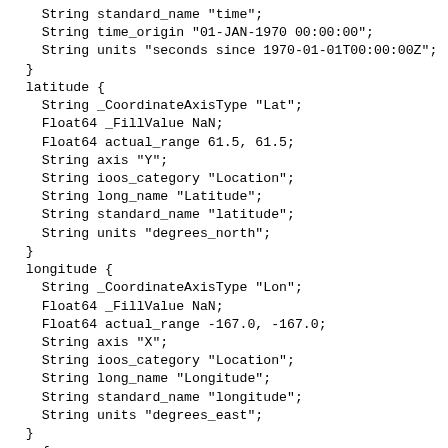String standard_name "time";
    String time_origin "01-JAN-1970 00:00:00";
    String units "seconds since 1970-01-01T00:00:00Z";
  }
  latitude {
    String _CoordinateAxisType "Lat";
    Float64 _FillValue NaN;
    Float64 actual_range 61.5, 61.5;
    String axis "Y";
    String ioos_category "Location";
    String long_name "Latitude";
    String standard_name "latitude";
    String units "degrees_north";
  }
  longitude {
    String _CoordinateAxisType "Lon";
    Float64 _FillValue NaN;
    Float64 actual_range -167.0, -167.0;
    String axis "X";
    String ioos_category "Location";
    String long_name "Longitude";
    String standard_name "longitude";
    String units "degrees_east";
  }
  z {
    Int32 ChunkSizes 146;